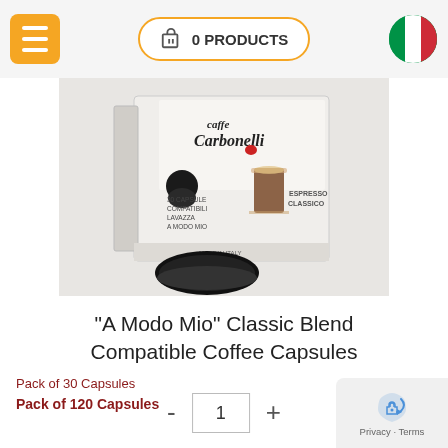0 PRODUCTS
[Figure (photo): Box of Caffe Carbonelli 'A Modo Mio' compatible coffee capsules, Espresso Classico, 30 capsules, with a capsule and an espresso glass in front]
“A Modo Mio” Classic Blend Compatible Coffee Capsules
Pack of 30 Capsules
Pack of 120 Capsules
€23.30
1